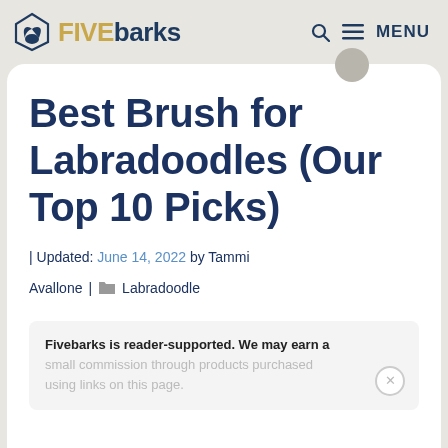FIVEbarks — MENU
Best Brush for Labradoodles (Our Top 10 Picks)
| Updated: June 14, 2022 by Tammi Avallone | Labradoodle
Fivebarks is reader-supported. We may earn a small commission through products purchased using links on this page.